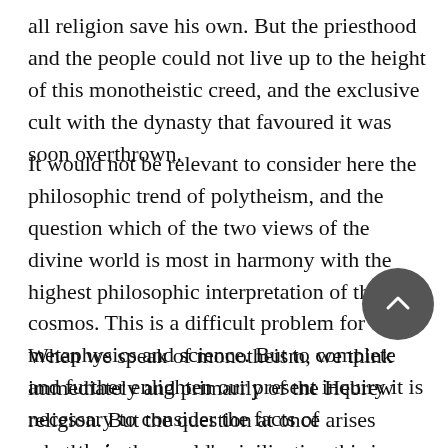all religion save his own. But the priesthood and the people could not live up to the height of this monotheistic creed, and the exclusive cult with the dynasty that favoured it was soon overthrown.
It would not be relevant to consider here the philosophic trend of polytheism, and the question which of the two views of the divine world is most in harmony with the highest philosophic interpretation of the cosmos. This is a difficult problem for metaphysics and science. But to complete and further enlighten our present inquiry it is necessary to consider the facts of monotheism.
When we speak of monotheism, we think immediately and primarily of the Hebrew religion. But the question at once arises whether in the world's civilization this is proved to be the earliest and purest